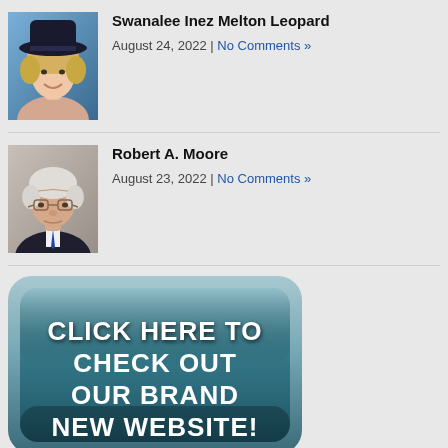Swanalee Inez Melton Leopard
August 24, 2022 | No Comments »
[Figure (photo): Portrait photo of Swanalee Inez Melton Leopard, a woman wearing a dark cowboy hat with blonde curly hair, smiling against a blue background]
Robert A. Moore
August 23, 2022 | No Comments »
[Figure (photo): Portrait photo of Robert A. Moore, an elderly man wearing glasses and a dark suit with a tie, against a muted background]
[Figure (infographic): A teal rounded button graphic with white bold text reading: CLICK HERE TO CHECK OUT OUR BRAND NEW WEBSITE!]